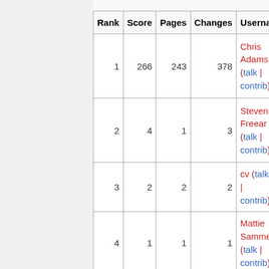| Rank | Score | Pages | Changes | Username |
| --- | --- | --- | --- | --- |
| 1 | 266 | 243 | 378 | Chris Adams (talk | contrib) |
| 2 | 4 | 1 | 3 | Steven Freear (talk | contrib) |
| 3 | 2 | 2 | 2 | cv (talk | contrib) |
| 4 | 1 | 1 | 1 | Mattie Samme (talk | contrib) |
| 5 | 1 | 1 | 1 | 9aspv | contri |